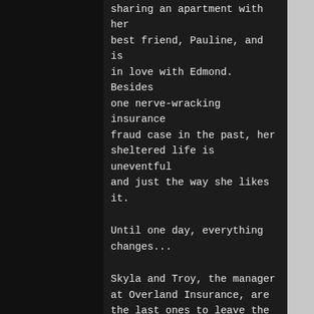sharing an apartment with her best friend, Pauline, and is in love with Edmond. Besides one nerve-wracking insurance fraud case in the past, her sheltered life is uneventful and just the way she likes it.
Until one day, everything changes...
Skyla and Troy, the manager at Overland Insurance, are the last ones to leave the office. In the empty parking lot, Troy takes her in his arms. Why would he ruin their easy-going [ship by